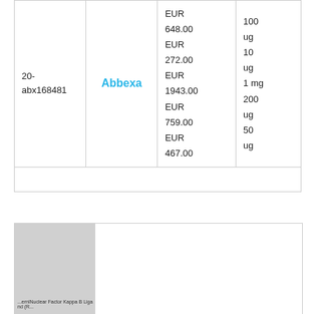| ID | Vendor | Price | Quantity |
| --- | --- | --- | --- |
| 20-abx168481 | Abbexa | EUR 648.00
EUR 272.00
EUR 1943.00
EUR 759.00
EUR 467.00 | 100 ug
10 ug
1 mg
200 ug
50 ug |
[Figure (photo): Partially visible product image placeholder with label text partially visible reading something like 'Nuclear Factor Kappa B Ligand (R...)']